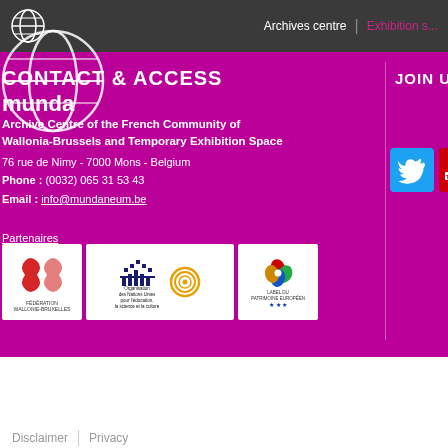Archives centre | Exhibition s...
CONTACT & ACCESS
munda
Archive Centre of the French Community of Wallonia-Brussels and Temporary Exhibition Space
76 rue de Nimy - 7000 Mons - Belgium
Phone : (0032) 065 31 53 43
Email : info@mundaneum.be
Partenaires
[Figure (logo): Federation Wallonie-Bruxelles logo (red/black WB emblem)]
[Figure (logo): UNESCO logo with Organization des Nations Unies text]
[Figure (logo): Label du Patrimoine Europeen logo with EU stars]
JOIN US
[Figure (logo): Twitter social media button (blue)]
[Figure (logo): YouTube social media button (red)]
Disclaimer | Privacy